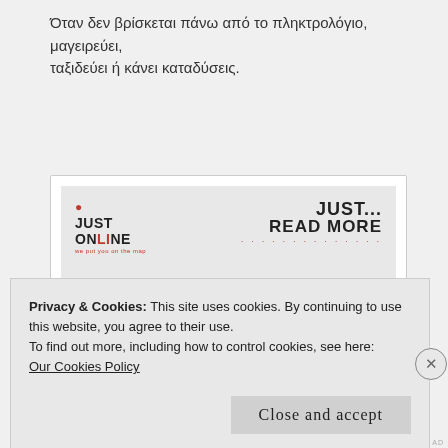Όταν δεν βρίσκεται πάνω από το πληκτρολόγιο, μαγειρεύει, ταξιδεύει ή κάνει καταδύσεις.
[Figure (other): Advertisement banner for 'Just Online' and 'Just... Read More' with Greek text 'Τα συστατικά ενός πετυχημένου eshop']
Privacy & Cookies: This site uses cookies. By continuing to use this website, you agree to their use.
To find out more, including how to control cookies, see here:
Our Cookies Policy
Close and accept